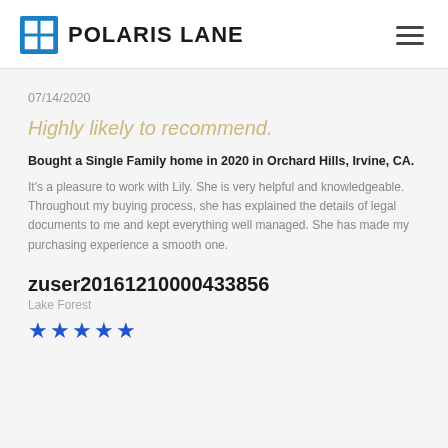POLARIS LANE
07/14/2020
Highly likely to recommend.
Bought a Single Family home in 2020 in Orchard Hills, Irvine, CA.
It's a pleasure to work with Lily. She is very helpful and knowledgeable. Throughout my buying process, she has explained the details of legal documents to me and kept everything well managed. She has made my purchasing experience a smooth one.
zuser20161210000433856
Lake Forest
★★★★★